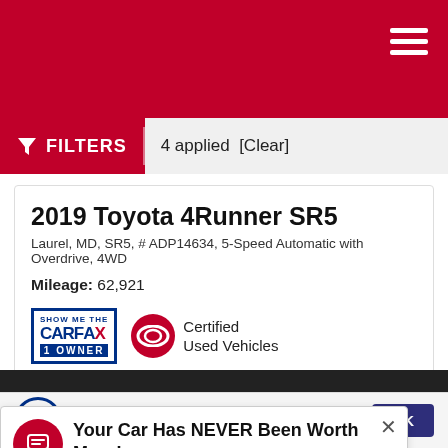FILTERS  4 applied  [Clear]
2019 Toyota 4Runner SR5
Laurel, MD, SR5, # ADP14634, 5-Speed Automatic with Overdrive, 4WD
Mileage: 62,921
[Figure (logo): CARFAX Show Me The 1 Owner badge and Toyota Certified Used Vehicles badge]
Your Car Has NEVER Been Worth More! Sell or Trade Your Car Today.
This site uses cookies.